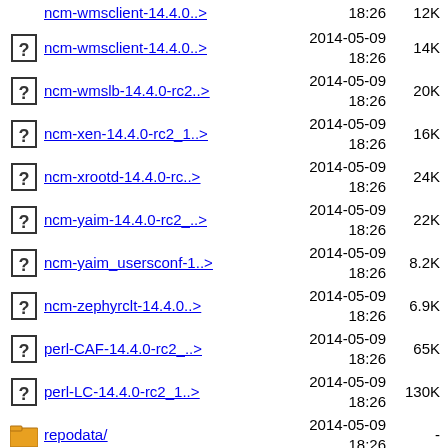ncm-wmsclient-14.4.0..>  2014-05-09 18:26  14K
ncm-wmslb-14.4.0-rc2..>  2014-05-09 18:26  20K
ncm-xen-14.4.0-rc2_1..>  2014-05-09 18:26  16K
ncm-xrootd-14.4.0-rc..>  2014-05-09 18:26  24K
ncm-yaim-14.4.0-rc2_..>  2014-05-09 18:26  22K
ncm-yaim_usersconf-1..>  2014-05-09 18:26  8.2K
ncm-zephyrclt-14.4.0..>  2014-05-09 18:26  6.9K
perl-CAF-14.4.0-rc2_..>  2014-05-09 18:26  65K
perl-LC-14.4.0-rc2_1..>  2014-05-09 18:26  130K
repodata/  2014-05-09 18:26  -